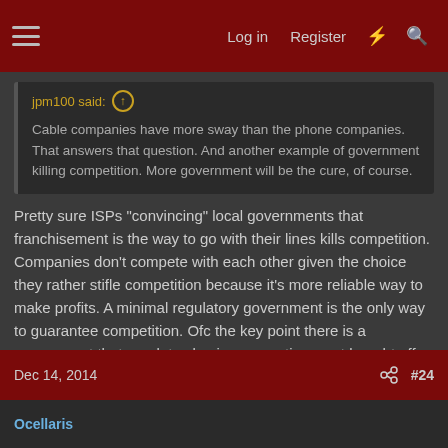Log in  Register  [icons]
jpm100 said: ↑
Cable companies have more sway than the phone companies. That answers that question. And another example of government killing competition. More government will be the cure, of course.
Pretty sure ISPs "convincing" local governments that franchisement is the way to go with their lines kills competition. Companies don't compete with each other given the choice they rather stifle competition because it's more reliable way to make profits. A minimal regulatory government is the only way to guarantee competition. Ofc the key point there is a government that regulates business practices; not bought off because company x lobbied for 1000 hours in front of a committee who only heard 20 hours from different sides.
Dec 14, 2014  #24
Ocellaris